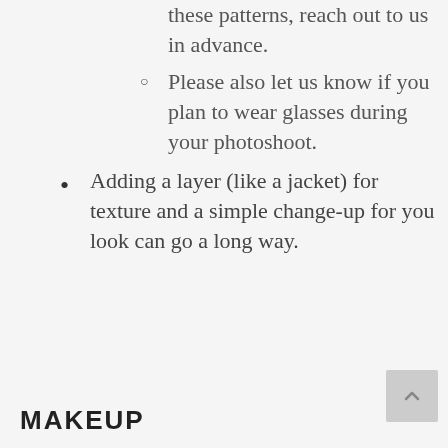these patterns, reach out to us in advance.
Please also let us know if you plan to wear glasses during your photoshoot.
Adding a layer (like a jacket) for texture and a simple change-up for you look can go a long way.
MAKEUP